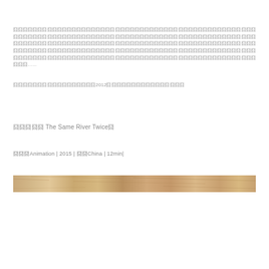囧囧囧囧囧囧囧囧囧囧囧囧囧囧囧囧囧囧囧囧囧囧囧囧囧囧囧囧囧囧囧囧囧囧囧囧囧囧囧囧囧囧囧囧囧囧囧囧囧囧囧囧囧囧囧囧囧囧囧囧囧囧囧囧囧囧囧囧囧囧囧囧囧囧囧囧囧囧囧囧囧囧囧囧囧囧囧囧囧囧囧囧囧囧囧囧囧囧囧囧囧囧囧囧囧囧囧囧囧囧囧囧囧囧囧囧囧囧囧囧囧囧囧囧囧囧囧囧囧囧囧囧囧囧囧囧囧囧囧囧囧囧囧囧囧囧囧囧囧囧囧囧囧囧囧囧囧囧囧囧囧囧囧囧囧囧囧囧囧囧囧囧囧囧囧囧囧囧囧囧囧囧囧囧囧囧囧囧囧囧囧囧囧囧囧囧囧囧囧囧囧囧囧囧囧囧囧囧囧……
囧囧囧囧囧囧囧囧囧囧囧囧囧囧囧囧囧2012囧囧囧囧囧囧囧囧囧囧囧囧囧囧囧囧
囧囧囧囧囧 The Same River Twice囧
囧囧囧Animation | 2015 | 囧囧China | 12min|
[Figure (photo): A horizontal strip/bar with a wood-grain or sandy texture in warm tan/beige tones]